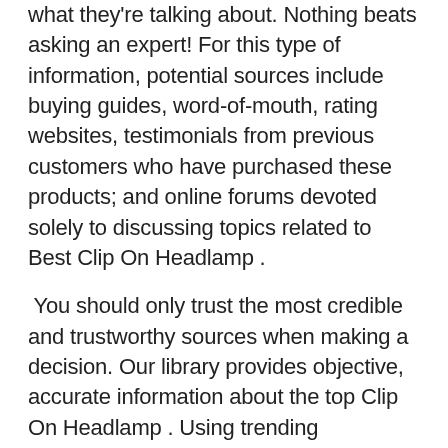what they're talking about. Nothing beats asking an expert! For this type of information, potential sources include buying guides, word-of-mouth, rating websites, testimonials from previous customers who have purchased these products; and online forums devoted solely to discussing topics related to Best Clip On Headlamp .
You should only trust the most credible and trustworthy sources when making a decision. Our library provides objective, accurate information about the top Clip On Headlamp . Using trending technologies, we create our guides so you can be sure of what you're getting, regardless of whether it's a bestseller or not!